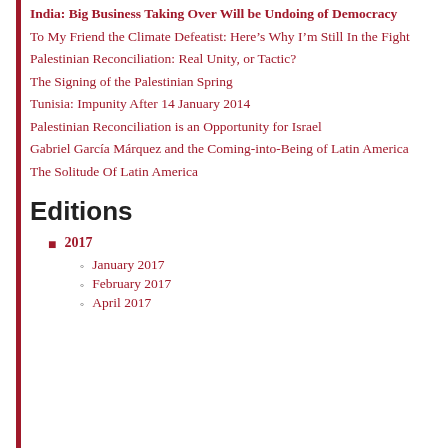India: Big Business Taking Over Will be Undoing of Democracy
To My Friend the Climate Defeatist: Here’s Why I’m Still In the Fight
Palestinian Reconciliation: Real Unity, or Tactic?
The Signing of the Palestinian Spring
Tunisia: Impunity After 14 January 2014
Palestinian Reconciliation is an Opportunity for Israel
Gabriel García Márquez and the Coming-into-Being of Latin America
The Solitude Of Latin America
Editions
2017
January 2017
February 2017
April 2017